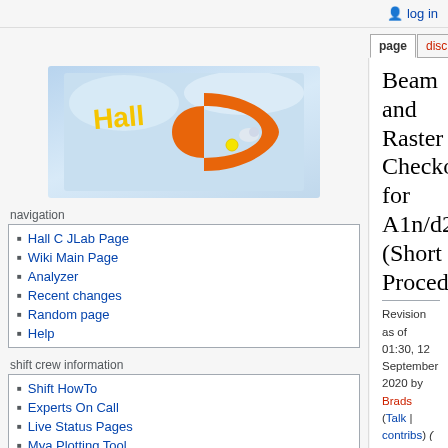log in
page | discussion | view source | history
[Figure (logo): Hall C JLab wiki logo with orange C letter and golden Hall C text on blue background]
Hall C JLab Page
Wiki Main Page
Analyzer
Recent changes
Random page
Help
Shift HowTo
Experts On Call
Live Status Pages
Mya Plotting Tool
Beam and Raster Checkout for A1n/d2n (Short Procedure)
Revision as of 01:30, 12 September 2020 by Brads (Talk | contribs) (→Note)
(diff) ← Older revision | Latest revision (diff) | Newer revision → (diff)
| Contents |
| --- |
| 1 12 GeV CEBAF Beam Parameter Tables |
| 2 When should we do a short beam checkout? |
| 3 Procedure |
| 3.1 Open Stripcharts |
| 3.2 Harp scans |
| 3.2.1 Purpose |
| 3.2.2 Note |
| 3.2.3 Setup |
| 3.2.4 Procedure |
| 3.2.4.1 Projection to Target |
| 3.3 Raster check with YAG Viewer |